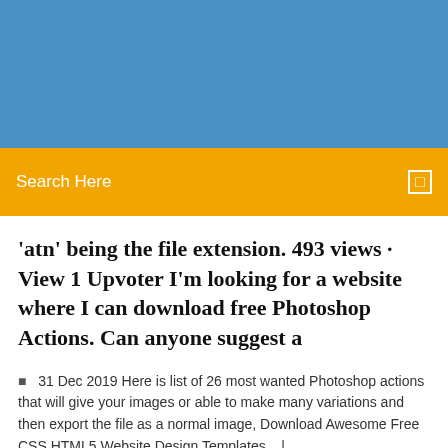[Figure (photo): Blue header banner background — solid steel blue rectangular area at the top of the page]
Search Here
'atn' being the file extension. 493 views · View 1 Upvoter I'm looking for a website where I can download free Photoshop Actions. Can anyone suggest a
31 Dec 2019 Here is list of 26 most wanted Photoshop actions that will give your images or able to make many variations and then export the file as a normal image, Download Awesome Free CSS HTML5 Website Design Templates.   |